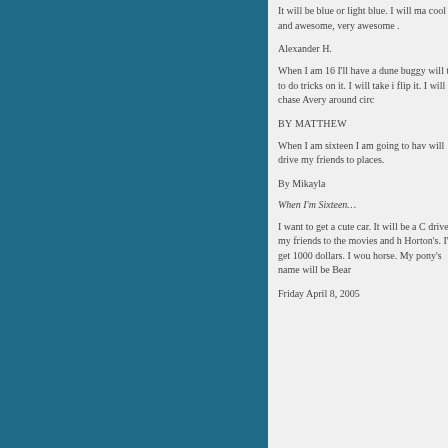It will be blue or light blue. I will ma cool and awesome, very awesome .
Alexander H.
When I am 16 I'll have a dune buggy will try to do tricks on it. I will take i flip it. I will chase Avery around circ
BY MATTHEW
When I am sixteen I am going to hav will drive my friends to places.
By Mikayla
When I'm Sixteen…
I want to get a cute car. It will be a C drive my friends to the movies and h Horton's. I'd get 1000 dollars. I wou horse. My pony's name will be Bear
Friday April 8, 2005